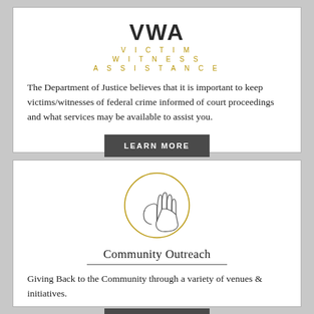[Figure (logo): VWA Victim Witness Assistance logo with bold VWA text and gold spaced subtitle lines]
The Department of Justice believes that it is important to keep victims/witnesses of federal crime informed of court proceedings and what services may be available to assist you.
LEARN MORE
[Figure (illustration): Two hands in a handshake or helping gesture enclosed within a circle, community outreach icon]
Community Outreach
Giving Back to the Community through a variety of venues & initiatives.
LEARN MORE